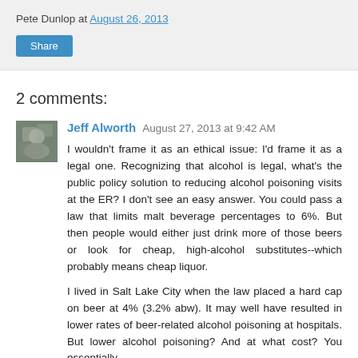Pete Dunlop at August 26, 2013
Share
2 comments:
Jeff Alworth  August 27, 2013 at 9:42 AM
I wouldn't frame it as an ethical issue: I'd frame it as a legal one. Recognizing that alcohol is legal, what's the public policy solution to reducing alcohol poisoning visits at the ER? I don't see an easy answer. You could pass a law that limits malt beverage percentages to 6%. But then people would either just drink more of those beers or look for cheap, high-alcohol substitutes--which probably means cheap liquor.

I lived in Salt Lake City when the law placed a hard cap on beer at 4% (3.2% abw). It may well have resulted in lower rates of beer-related alcohol poisoning at hospitals. But lower alcohol poisoning? And at what cost? You essentially